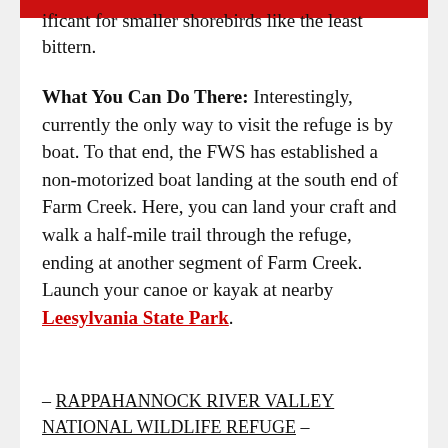…icant for smaller shorebirds like the least bittern.
What You Can Do There: Interestingly, currently the only way to visit the refuge is by boat. To that end, the FWS has established a non-motorized boat landing at the south end of Farm Creek. Here, you can land your craft and walk a half-mile trail through the refuge, ending at another segment of Farm Creek. Launch your canoe or kayak at nearby Leesylvania State Park.
– RAPPAHANNOCK RIVER VALLEY NATIONAL WILDLIFE REFUGE –